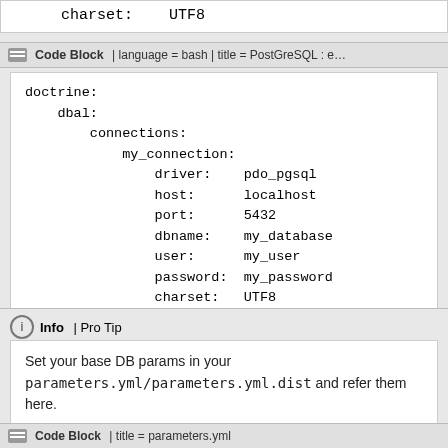charset:    UTF8
Code Block | language = bash | title = PostGreSQL : e…
doctrine:
    dbal:
        connections:
            my_connection:
                driver:    pdo_pgsql
                host:      localhost
                port:      5432
                dbname:    my_database
                user:      my_user
                password:  my_password
                charset:   UTF8
Info | Pro Tip
Set your base DB params in your parameters.yml/parameters.yml.dist and refer them here.
Code Block | title = parameters.yml